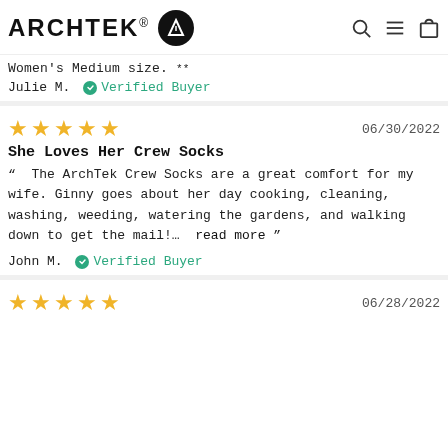ARCHTEK® [logo] [search] [menu] [cart]
Women's Medium size.
Julie M. ✔ Verified Buyer
★★★★★  06/30/2022
She Loves Her Crew Socks
" The ArchTek Crew Socks are a great comfort for my wife. Ginny goes about her day cooking, cleaning, washing, weeding, watering the gardens, and walking down to get the mail!...  read more "
John M. ✔ Verified Buyer
★★★★★  06/28/2022